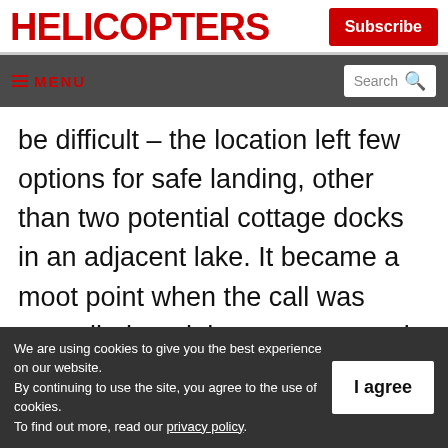HELICOPTERS
Subscribe
≡ MENU  Search
be difficult – the location left few options for safe landing, other than two potential cottage docks in an adjacent lake. It became a moot point when the call was cancelled, and the crew returned to Sudbury to complete the Toronto call. The OPP later confirmed the 69-
We are using cookies to give you the best experience on our website.
By continuing to use the site, you agree to the use of cookies.
To find out more, read our privacy policy.
I agree